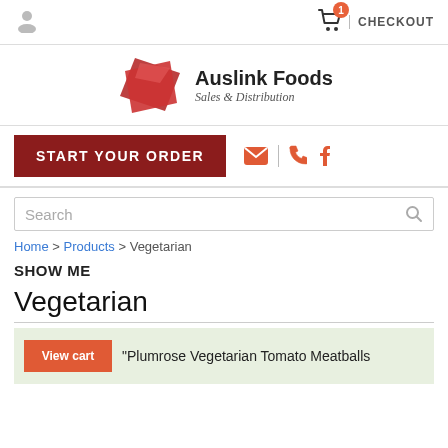User icon | 1 Cart | CHECKOUT
[Figure (logo): Auslink Foods logo with red geometric shapes and text 'Auslink Foods Sales & Distribution']
START YOUR ORDER
Search
Home > Products > Vegetarian
SHOW ME
Vegetarian
"Plumrose Vegetarian Tomato Meatballs